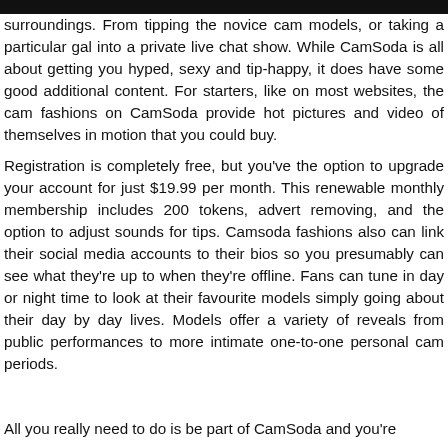surroundings. From tipping the novice cam models, or taking a particular gal into a private live chat show. While CamSoda is all about getting you hyped, sexy and tip-happy, it does have some good additional content. For starters, like on most websites, the cam fashions on CamSoda provide hot pictures and video of themselves in motion that you could buy.
Registration is completely free, but you've the option to upgrade your account for just $19.99 per month. This renewable monthly membership includes 200 tokens, advert removing, and the option to adjust sounds for tips. Camsoda fashions also can link their social media accounts to their bios so you presumably can see what they're up to when they're offline. Fans can tune in day or night time to look at their favourite models simply going about their day by day lives. Models offer a variety of reveals from public performances to more intimate one-to-one personal cam periods.
All you really need to do is be part of CamSoda and you're